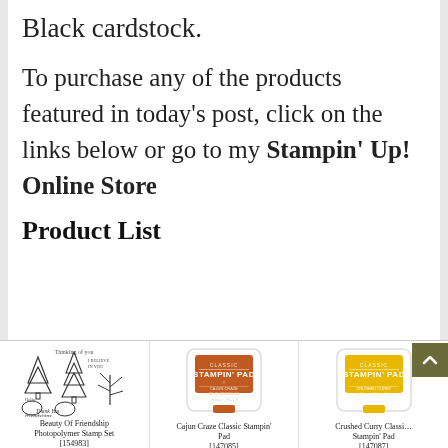Black cardstock.
To purchase any of the products featured in today's post, click on the links below or go to my Stampin' Up! Online Store
Product List
[Figure (photo): Beauty Of Friendship Photopolymer Stamp Set product image showing tree and greeting illustrations]
Beauty Of Friendship Photopolymer Stamp Set
[154983]
[Figure (photo): Cajun Craze Classic Stampin' Pad - orange/rust colored ink pad]
Cajun Craze Classic Stampin' Pad
[147085]
[Figure (photo): Crushed Curry Classic Stampin' Pad - yellow colored ink pad]
Crushed Curry Classic Stampin' Pad
[147087]